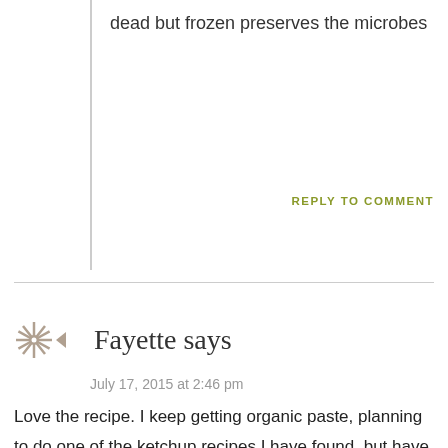dead but frozen preserves the microbes
REPLY TO COMMENT
Fayette says
July 17, 2015 at 2:46 pm
Love the recipe. I keep getting organic paste, planning to do one of the ketchup recipes I have found, but have never gotten to it. I really like the idea of the fermented ketchup. Can cider vinegar or kombucha work? I have been brewing my own kombucha for a couple years and I substitute it where vinegar is called for unless advised against it. Also, If I substitute organic sugar will it affect